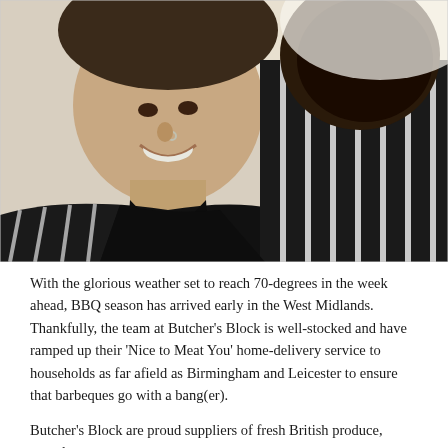[Figure (photo): Two people wearing black and white striped butcher aprons posing together for a selfie-style photo. One person is smiling directly at the camera with a nose ring, wearing a black top. The other person is behind/beside them also wearing a striped butcher apron.]
With the glorious weather set to reach 70-degrees in the week ahead, BBQ season has arrived early in the West Midlands. Thankfully, the team at Butcher's Block is well-stocked and have ramped up their 'Nice to Meat You' home-delivery service to households as far afield as Birmingham and Leicester to ensure that barbeques go with a bang(er).
Butcher's Block are proud suppliers of fresh British produce, award